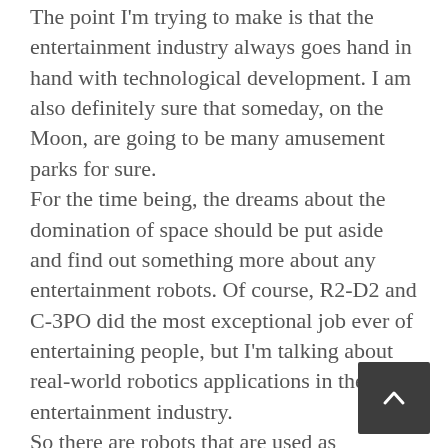The point I'm trying to make is that the entertainment industry always goes hand in hand with technological development. I am also definitely sure that someday, on the Moon, are going to be many amusement parks for sure.
For the time being, the dreams about the domination of space should be put aside and find out something more about any entertainment robots. Of course, R2-D2 and C-3PO did the most exceptional job ever of entertaining people, but I'm talking about real-world robotics applications in the entertainment industry.
So there are robots that are used as mechanical games, there are animated robots that are made for entertaining people when they are at different types of festivals or amusement parks. We must mention that they're not robot toys. They